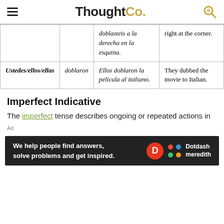ThoughtCo.
|  |  | doblasteis a la derecha en la esquina. | right at the corner. |
| Ustedes/ellos/ellas | doblaron | Ellos doblaron la película al italiano. | They dubbed the movie to Italian. |
Imperfect Indicative
The imperfect tense describes ongoing or repeated actions in
[Figure (other): Dotdash Meredith advertisement banner: 'We help people find answers, solve problems and get inspired.' with D logo and Dotdash Meredith logo]